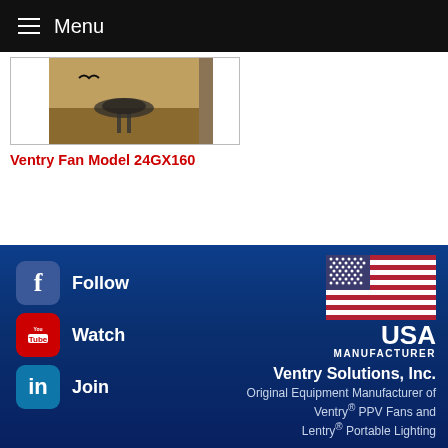Menu
[Figure (photo): Ventry Fan Model 24GX160 in outdoor field setting]
Ventry Fan Model 24GX160
[Figure (infographic): Footer with social media links (Facebook Follow, YouTube Watch, LinkedIn Join), USA flag, USA Manufacturer badge, Ventry Solutions Inc. company info]
Ventry Solutions, Inc.
Original Equipment Manufacturer of Ventry® PPV Fans and Lentry® Portable Lighting